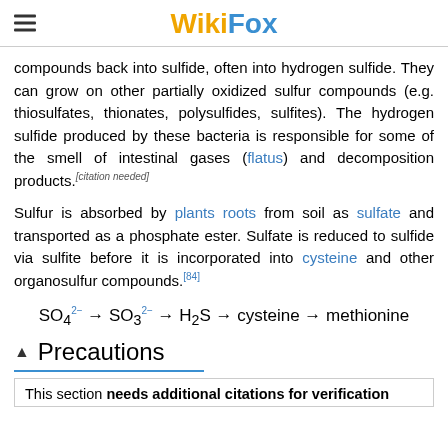WikiFox
compounds back into sulfide, often into hydrogen sulfide. They can grow on other partially oxidized sulfur compounds (e.g. thiosulfates, thionates, polysulfides, sulfites). The hydrogen sulfide produced by these bacteria is responsible for some of the smell of intestinal gases (flatus) and decomposition products.[citation needed]
Sulfur is absorbed by plants roots from soil as sulfate and transported as a phosphate ester. Sulfate is reduced to sulfide via sulfite before it is incorporated into cysteine and other organosulfur compounds.[84]
Precautions
This section needs additional citations for verification